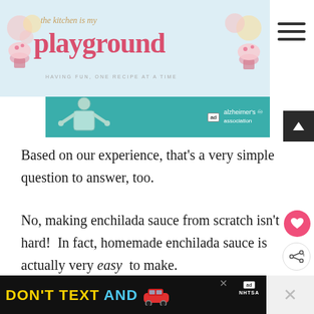[Figure (logo): The Kitchen is my Playground blog logo with cupcake decorations on teal background]
[Figure (photo): Alzheimer's Association advertisement banner in teal with illustrated person]
Based on our experience, that's a very simple question to answer, too.
No, making enchilada sauce from scratch isn't hard!  In fact, homemade enchilada sauce is actually very easy  to make.
Much easier than I thought.  And quick, too.
[Figure (screenshot): DON'T TEXT AND drive NHTSA advertisement banner at bottom]